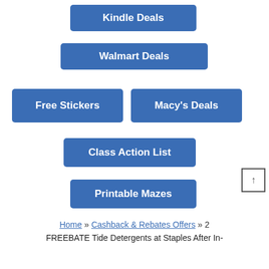[Figure (infographic): Navigation button menu with 6 blue buttons: Kindle Deals, Walmart Deals, Free Stickers, Macy's Deals, Class Action List, Printable Mazes, and a scroll-to-top arrow button]
Home » Cashback & Rebates Offers » 2 FREEBATE Tide Detergents at Staples After In-
FREEBATE Tide Detergents at Staples After In-